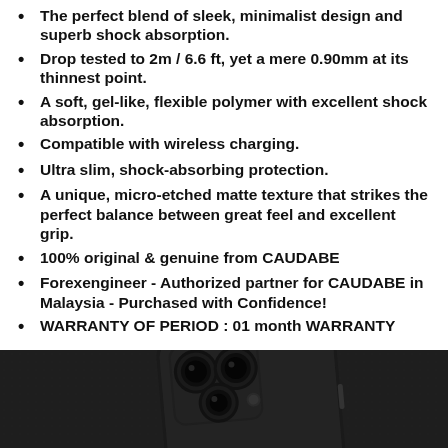The perfect blend of sleek, minimalist design and superb shock absorption.
Drop tested to 2m / 6.6 ft, yet a mere 0.90mm at its thinnest point.
A soft, gel-like, flexible polymer with excellent shock absorption.
Compatible with wireless charging.
Ultra slim, shock-absorbing protection.
A unique, micro-etched matte texture that strikes the perfect balance between great feel and excellent grip.
100% original & genuine from CAUDABE
Forexengineer - Authorized partner for CAUDABE in Malaysia - Purchased with Confidence!
WARRANTY OF PERIOD : 01 month WARRANTY
[Figure (photo): A black iPhone in a black matte phone case (CAUDABE) photographed on a dark leather surface, showing the triple camera system. The case appears very thin and sleek.]